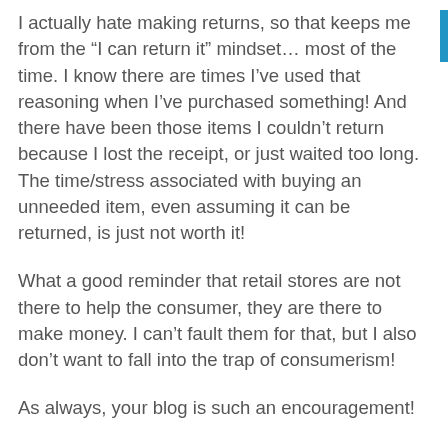I actually hate making returns, so that keeps me from the “I can return it” mindset… most of the time. I know there are times I’ve used that reasoning when I’ve purchased something! And there have been those items I couldn’t return because I lost the receipt, or just waited too long. The time/stress associated with buying an unneeded item, even assuming it can be returned, is just not worth it!
What a good reminder that retail stores are not there to help the consumer, they are there to make money. I can’t fault them for that, but I also don’t want to fall into the trap of consumerism!
As always, your blog is such an encouragement!